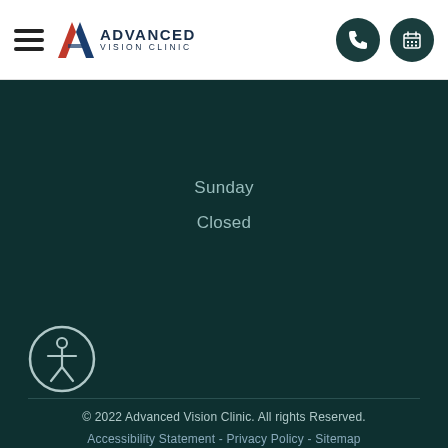[Figure (logo): Advanced Vision Clinic logo with hamburger menu, A-shaped red/blue icon, text ADVANCED VISION CLINIC, and two dark teal circular icons (phone and calendar) on the right]
Sunday
Closed
[Figure (illustration): Accessibility icon: circle with stick figure person with arms out]
© 2022 Advanced Vision Clinic. All rights Reserved.
Accessibility Statement - Privacy Policy - Sitemap
[Figure (logo): Done 4 You Marketing logo: cyan circle with DONE 4 YOU text, followed by MARKETING. in white with cyan period]
Powered by: